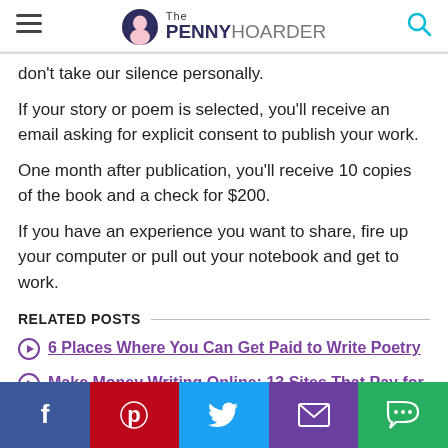The PENNY HOARDER
don't take our silence personally.
If your story or poem is selected, you'll receive an email asking for explicit consent to publish your work.
One month after publication, you'll receive 10 copies of the book and a check for $200.
If you have an experience you want to share, fire up your computer or pull out your notebook and get to work.
RELATED POSTS
6 Places Where You Can Get Paid to Write Poetry
Make Money Writing Online: 13 Sites That Pay for Articles